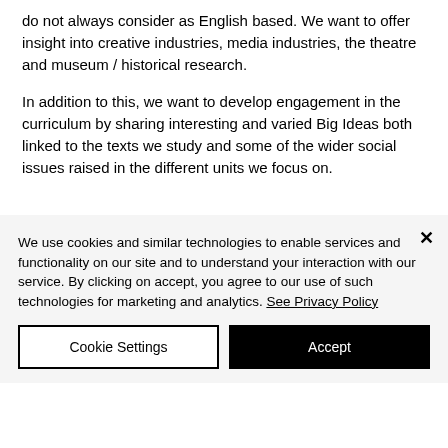do not always consider as English based. We want to offer insight into creative industries, media industries, the theatre and museum / historical research.
In addition to this, we want to develop engagement in the curriculum by sharing interesting and varied Big Ideas both linked to the texts we study and some of the wider social issues raised in the different units we focus on.
We use cookies and similar technologies to enable services and functionality on our site and to understand your interaction with our service. By clicking on accept, you agree to our use of such technologies for marketing and analytics. See Privacy Policy